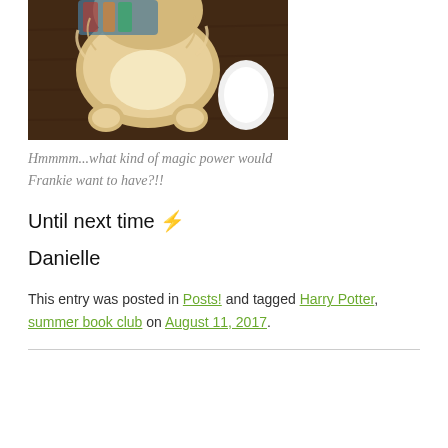[Figure (photo): Photo of a fluffy dog (Frankie) lying on a wooden floor, seen from above, with paws stretched out and what appears to be a colorful item nearby.]
Hmmmm...what kind of magic power would Frankie want to have?!!
Until next time ⚡
Danielle
This entry was posted in Posts! and tagged Harry Potter, summer book club on August 11, 2017.